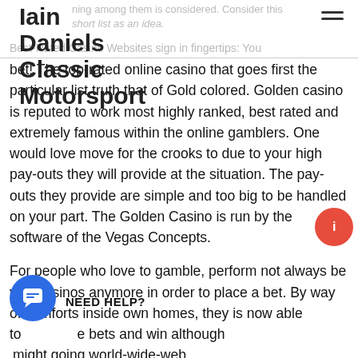Iain Daniels Classic Motorsport
bet! The top-rated online casino that goes first the particular list truth that of Gold colored. Golden casino is reputed to work most highly ranked, best rated and extremely famous within the online gamblers. One would love move for the crooks to due to your high pay-outs they will provide at the situation. The pay-outs they provide are simple and too big to be handled on your part. The Golden Casino is run by the software of the Vegas Concepts.
For people who love to gamble, perform not always be visit casinos anymore in order to place a bet. By way of comforts inside own homes, they is now able to play bets and win although might going world-wide-web.